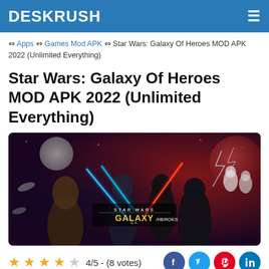DESKRUSH
⇔ Apps ⇔ Games Mod APK ⇔ Star Wars: Galaxy Of Heroes MOD APK 2022 (Unlimited Everything)
Star Wars: Galaxy Of Heroes MOD APK 2022 (Unlimited Everything)
[Figure (illustration): Star Wars: Galaxy of Heroes game promotional artwork showing Darth Vader, Rey, Kylo Ren, Chewbacca, stormtroopers, and other characters with lightsabers and lightning effects on a dark space background with the game logo centered.]
★★★★☆ 4/5 - (8 votes)